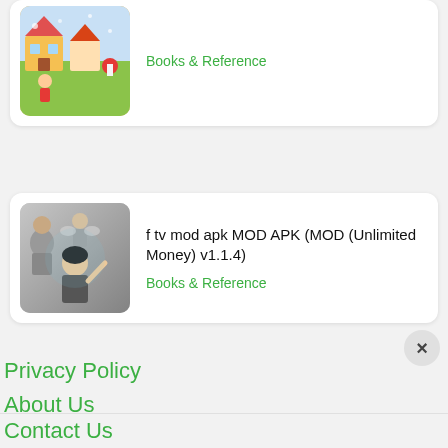[Figure (screenshot): App card (partial, top): colorful cartoon village scene with a girl in red, app icon for a Books & Reference app]
Books & Reference
[Figure (screenshot): App card: grayscale image with animated characters (woman, fairy, dark-haired girl), app icon for f tv mod apk]
f tv mod apk MOD APK (MOD (Unlimited Money) v1.1.4)
Books & Reference
Privacy Policy
About Us
Contact Us